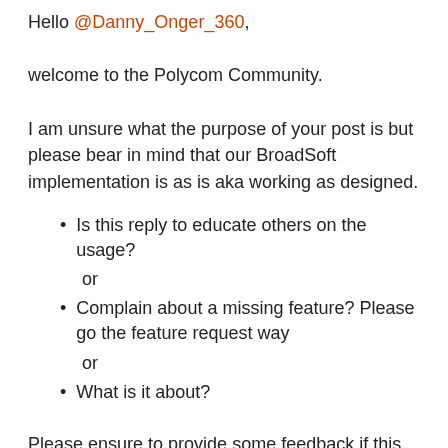Hello @Danny_Onger_360,
welcome to the Polycom Community.
I am unsure what the purpose of your post is but please bear in mind that our BroadSoft implementation is as is aka working as designed.
Is this reply to educate others on the usage?
or
Complain about a missing feature? Please go the feature request way
or
What is it about?
Please ensure to provide some feedback if this reply has